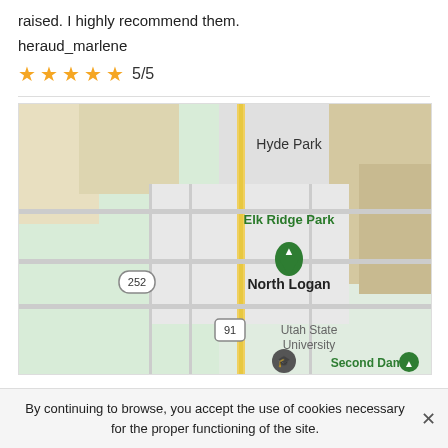raised. I highly recommend them.
heraud_marlene
★★★★★ 5/5
[Figure (map): Google Maps screenshot showing Hyde Park, Elk Ridge Park (with green pin), North Logan, Utah State University, Second Dam, and route 252 and 91 in Utah.]
By continuing to browse, you accept the use of cookies necessary for the proper functioning of the site.